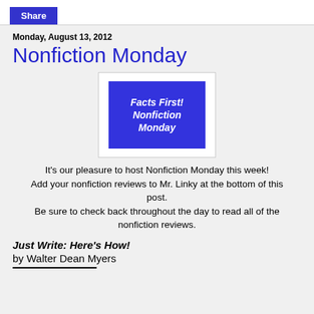Share
Monday, August 13, 2012
Nonfiction Monday
[Figure (illustration): Blue rectangle banner with white bold italic text reading 'Facts First! Nonfiction Monday' centered inside a white-framed box]
It's our pleasure to host Nonfiction Monday this week! Add your nonfiction reviews to Mr. Linky at the bottom of this post. Be sure to check back throughout the day to read all of the nonfiction reviews.
Just Write: Here's How!
by Walter Dean Myers